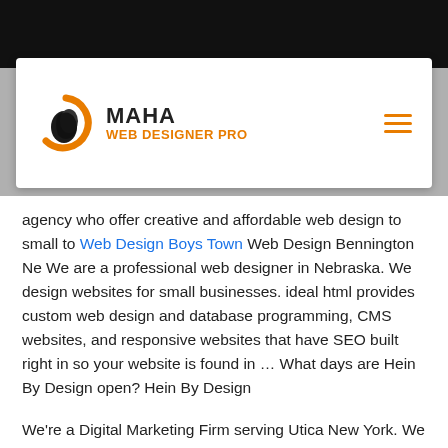[Figure (logo): Maha Web Designer Pro logo with orange/black circular icon and text]
agency who offer creative and affordable web design to small to Web Design Boys Town Web Design Bennington Ne We are a professional web designer in Nebraska. We design websites for small businesses. ideal html provides custom web design and database programming, CMS websites, and responsive websites that have SEO built right in so your website is found in … What days are Hein By Design open? Hein By Design
We're a Digital Marketing Firm serving Utica New York. We specialize in Web Design, Google Advertising, Facebook Advertising, Youtube Advertising, Local …